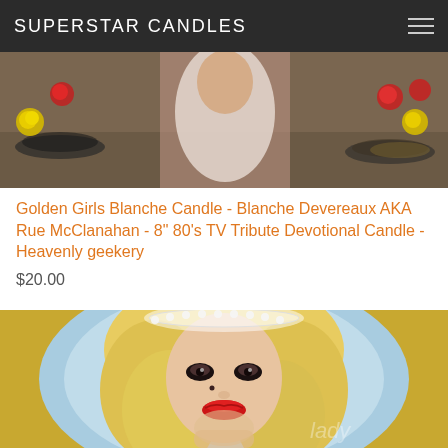SUPERSTAR CANDLES
[Figure (photo): Top portion of a Golden Girls Blanche candle product photo showing floral decoration and table setting with roses]
Golden Girls Blanche Candle - Blanche Devereaux AKA Rue McClanahan - 8" 80's TV Tribute Devotional Candle - Heavenly geekery
$20.00
[Figure (photo): Lady Gaga devotional candle product image showing a blonde woman with red lips, dramatic makeup, and a pearl headpiece against a light blue oval background with gold border]